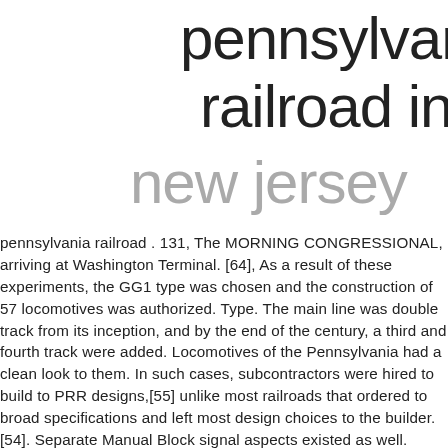pennsylvania railroad in new jersey
pennsylvania railroad . 131, The MORNING CONGRESSIONAL, arriving at Washington Terminal. [64], As a result of these experiments, the GG1 type was chosen and the construction of 57 locomotives was authorized. Type. The main line was double track from its inception, and by the end of the century, a third and fourth track were added. Locomotives of the Pennsylvania had a clean look to them. In such cases, subcontractors were hired to build to PRR designs,[55] unlike most railroads that ordered to broad specifications and left most design choices to the builder.[54]. Separate Manual Block signal aspects existed as well. Since 1968, many of the structures of Altoona Works were demolished. Der letzte Bogen der Brücke auf der Trenton-Seite überquert